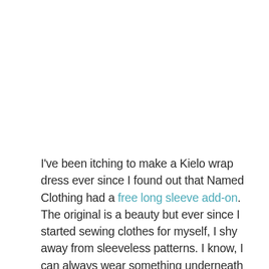I've been itching to make a Kielo wrap dress ever since I found out that Named Clothing had a free long sleeve add-on. The original is a beauty but ever since I started sewing clothes for myself, I shy away from sleeveless patterns. I know, I can always wear something underneath or on top to make it hijabi friendly. But to be honest, I'm totally over layering. Which is quite funny since my entire wardrobe used to be made up of cardigans and